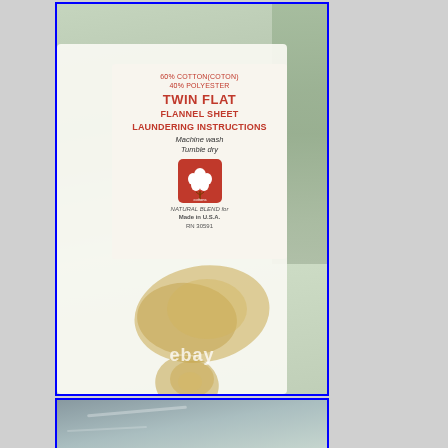[Figure (photo): Close-up photo of a white flannel sheet with a sewn-in fabric care label reading '60% COTTON(COTON) 40% POLYESTER TWIN FLAT FLANNEL SHEET LAUNDERING INSTRUCTIONS Machine wash Tumble dry' with a cotton logo, 'NATURAL BLEND Made in U.S.A. RN 30591' and showing tan/yellow stain marks on the white fabric. An eBay watermark is visible. The photo is bordered with a blue outline.]
[Figure (photo): Partial close-up photo of the same white flannel sheet showing fabric texture details, also bordered in blue. The bottom portion of the page is cut off.]